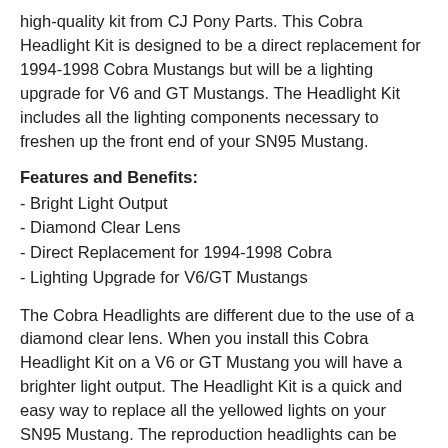high-quality kit from CJ Pony Parts. This Cobra Headlight Kit is designed to be a direct replacement for 1994-1998 Cobra Mustangs but will be a lighting upgrade for V6 and GT Mustangs. The Headlight Kit includes all the lighting components necessary to freshen up the front end of your SN95 Mustang.
Features and Benefits:
- Bright Light Output
- Diamond Clear Lens
- Direct Replacement for 1994-1998 Cobra
- Lighting Upgrade for V6/GT Mustangs
The Cobra Headlights are different due to the use of a diamond clear lens. When you install this Cobra Headlight Kit on a V6 or GT Mustang you will have a brighter light output. The Headlight Kit is a quick and easy way to replace all the yellowed lights on your SN95 Mustang. The reproduction headlights can be installed using all the original hardware and can be installed by any skill set mechanic.